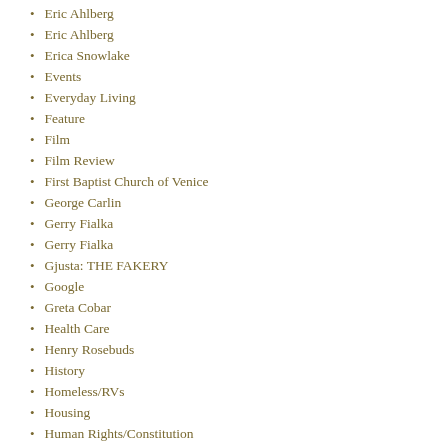Eric Ahlberg
Eric Ahlberg
Erica Snowlake
Events
Everyday Living
Feature
Film
Film Review
First Baptist Church of Venice
George Carlin
Gerry Fialka
Gerry Fialka
Gjusta: THE FAKERY
Google
Greta Cobar
Health Care
Henry Rosebuds
History
Homeless/RVs
Housing
Human Rights/Constitution
Humor
Immigration/Free Trade
In Brief
Independent Film
International
Interviews